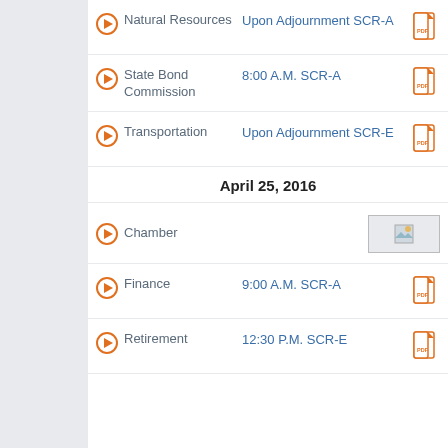Natural Resources — Upon Adjournment SCR-A
State Bond Commission — 8:00 A.M. SCR-A
Transportation — Upon Adjournment SCR-E
April 25, 2016
Chamber
Finance — 9:00 A.M. SCR-A
Retirement — 12:30 P.M. SCR-E